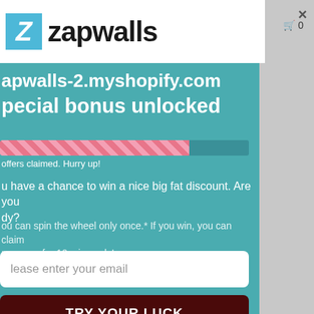[Figure (screenshot): Zapwalls website header with blue logo box containing italic Z and brand name 'zapwalls' in bold black text on white background]
apwalls-2.myshopify.com
pecial bonus unlocked
[Figure (infographic): Progress bar with pink/red diagonal stripe fill at approximately 76% with teal remaining portion]
offers claimed. Hurry up!
u have a chance to win a nice big fat discount. Are you dy?
ou can spin the wheel only once.* If you win, you can claim r coupon for 10 mins only!
lease enter your email
TRY YOUR LUCK
No, I don't feel lucky